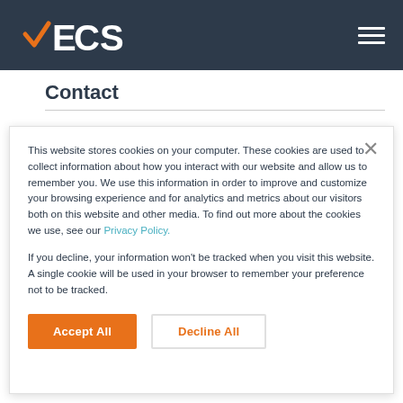EKCS
Contact
This website stores cookies on your computer. These cookies are used to collect information about how you interact with our website and allow us to remember you. We use this information in order to improve and customize your browsing experience and for analytics and metrics about our visitors both on this website and other media. To find out more about the cookies we use, see our Privacy Policy.
If you decline, your information won't be tracked when you visit this website. A single cookie will be used in your browser to remember your preference not to be tracked.
Accept All
Decline All